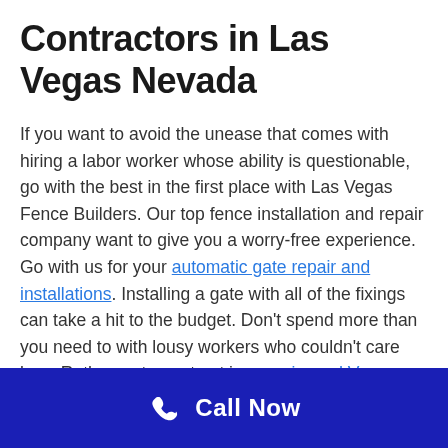Contractors in Las Vegas Nevada
If you want to avoid the unease that comes with hiring a labor worker whose ability is questionable, go with the best in the first place with Las Vegas Fence Builders. Our top fence installation and repair company want to give you a worry-free experience. Go with us for your automatic gate repair and installations. Installing a gate with all of the fixings can take a hit to the budget. Don't spend more than you need to with lousy workers who couldn't care less. Rather, put your trust in experienced Vegas fence contractors who have a vast knowledge of the business and won't cost you a dime more than is necessary. We'll work well and we'll work fast so you don't have to pay extra labor costs. Our fence company is known for providing great customer service. We always
Call Now